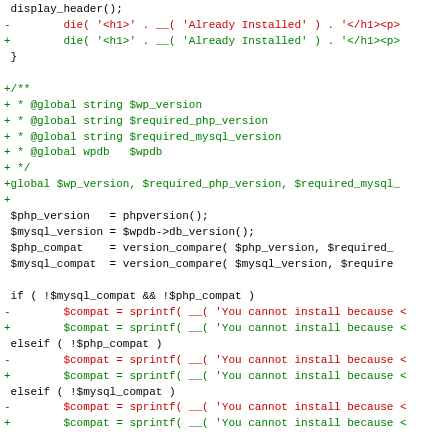[Figure (screenshot): Code diff view showing PHP code changes. Lines with '-' prefix are in red (removed), lines with '+' prefix are in green (added), context lines are black, and hunk headers are in magenta/purple.]